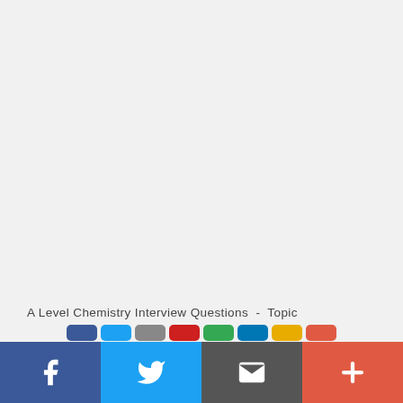A Level Chemistry Interview Questions - Topic
[Figure (other): Social media sharing button strip with Facebook, Twitter, Email/envelope, and Plus buttons at the bottom of the page]